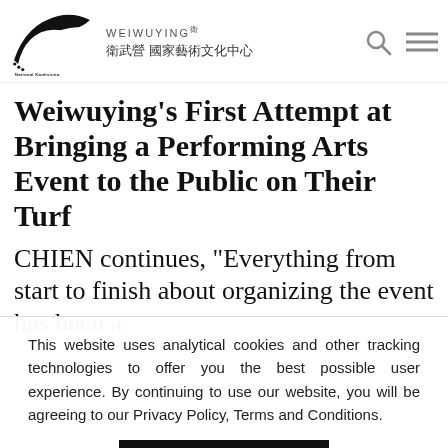[Figure (logo): National Kaohsiung Center for the Arts (Weiwuying) logo with bird/wave silhouette and bilingual text: WEIWUYING and 衛武營 國家藝術文化中心]
Weiwuying's First Attempt at Bringing a Performing Arts Event to the Public on Their Turf
CHIEN continues, "Everything from start to finish about organizing the event has been a
This website uses analytical cookies and other tracking technologies to offer you the best possible user experience. By continuing to use our website, you will be agreeing to our Privacy Policy, Terms and Conditions.
Agree